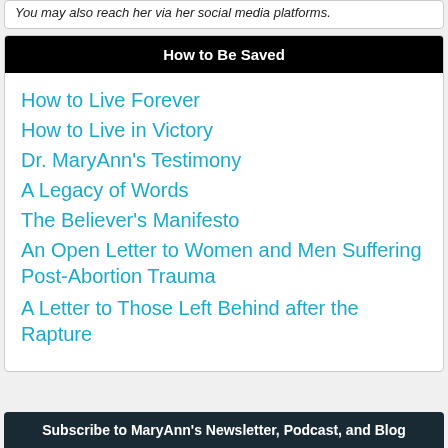You may also reach her via her social media platforms.
How to Be Saved
How to Live Forever
How to Live in Victory
Dr. MaryAnn's Testimony
A Legacy of Words
The Believer's Manifesto
An Open Letter to Women and Men Suffering Post-Abortion Trauma
A Letter to Those Left Behind after the Rapture
Subscribe to MaryAnn's Newsletter, Podcast, and Blog